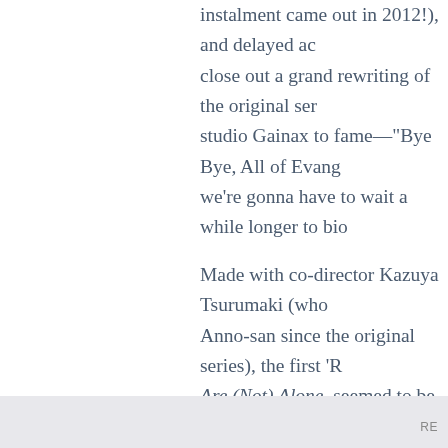instalment came out in 2012!), and delayed ac close out a grand rewriting of the original ser studio Gainax to fame—"Bye Bye, All of Evang we're gonna have to wait a while longer to bio
Made with co-director Kazuya Tsurumaki (who Anno-san since the original series), the first 'R Are (Not) Alone, seemed to be a fairly conven visuals and score with more modern techniqu isolated, depressed and self-loathing teenage absentee father to help fight the mysterious, g an equally mysterious big robot called an Eva no self-fulfilment in this, and if anything, the c only seems to push him further into himself. S
RE